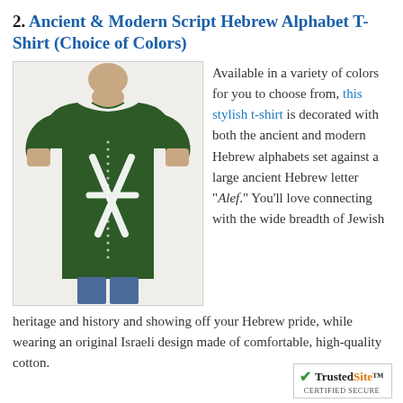2. Ancient & Modern Script Hebrew Alphabet T-Shirt (Choice of Colors)
[Figure (photo): Man wearing a dark green t-shirt with large ancient Hebrew letter Alef and Hebrew alphabet text printed on it]
Available in a variety of colors for you to choose from, this stylish t-shirt is decorated with both the ancient and modern Hebrew alphabets set against a large ancient Hebrew letter "Alef." You'll love connecting with the wide breadth of Jewish heritage and history and showing off your Hebrew pride, while wearing an original Israeli design made of comfortable, high-quality cotton.
[Figure (logo): TrustedSite Certified Secure badge]